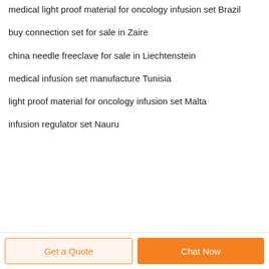medical light proof material for oncology infusion set Brazil
buy connection set for sale in Zaire
china needle freeclave for sale in Liechtenstein
medical infusion set manufacture Tunisia
light proof material for oncology infusion set Malta
infusion regulator set Nauru